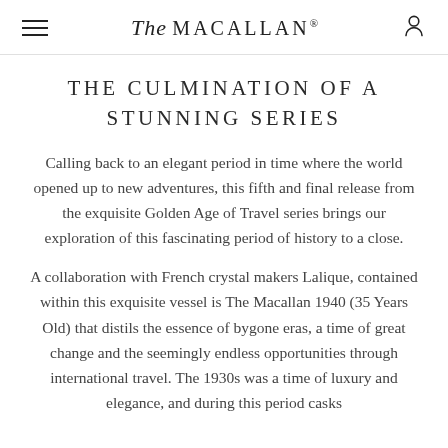The Macallan®
THE CULMINATION OF A STUNNING SERIES
Calling back to an elegant period in time where the world opened up to new adventures, this fifth and final release from the exquisite Golden Age of Travel series brings our exploration of this fascinating period of history to a close.
A collaboration with French crystal makers Lalique, contained within this exquisite vessel is The Macallan 1940 (35 Years Old) that distils the essence of bygone eras, a time of great change and the seemingly endless opportunities through international travel. The 1930s was a time of luxury and elegance, and during this period casks